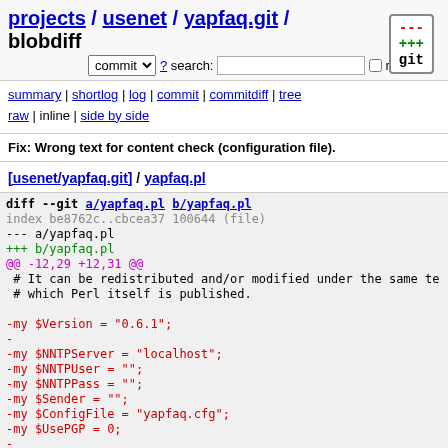projects / usenet / yapfaq.git / blobdiff
commit  ?  search:  re
summary | shortlog | log | commit | commitdiff | tree
raw | inline | side by side
Fix: Wrong text for content check (configuration file).
[usenet/yapfaq.git] / yapfaq.pl
[Figure (screenshot): Git diff output showing diff --git a/yapfaq.pl b/yapfaq.pl, index be8762c..cbcea37 100644 (file), --- a/yapfaq.pl, +++ b/yapfaq.pl, @@ -12,29 +12,31 @@, context and removed lines for version variables and config settings]
[Figure (logo): git logo with --- +++ git text in red and green]